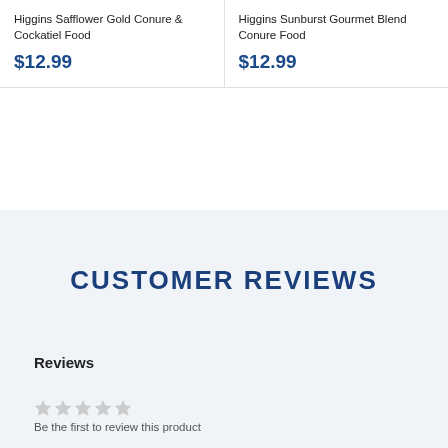Higgins Safflower Gold Conure & Cockatiel Food
$12.99
Higgins Sunburst Gourmet Blend Conure Food
$12.99
CUSTOMER REVIEWS
Reviews
Be the first to review this product